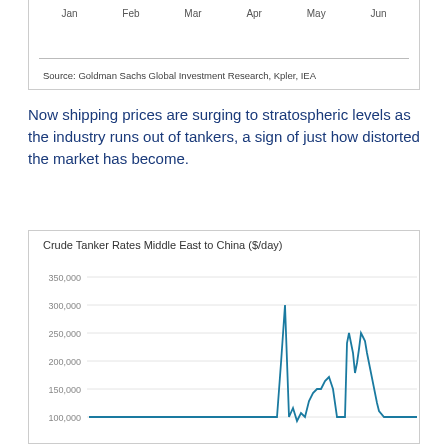[Figure (continuous-plot): Top portion of a time series chart showing x-axis labels: Jan, Feb, Mar, Apr, May, Jun]
Source: Goldman Sachs Global Investment Research, Kpler, IEA
Now shipping prices are surging to stratospheric levels as the industry runs out of tankers, a sign of just how distorted the market has become.
[Figure (continuous-plot): Line chart showing crude tanker rates from Middle East to China in $/day. Y-axis shows values from 100,000 to 350,000. The line spikes sharply to near 300,000 at one point and then again near 250,000 later, with lower values in between around 100,000.]